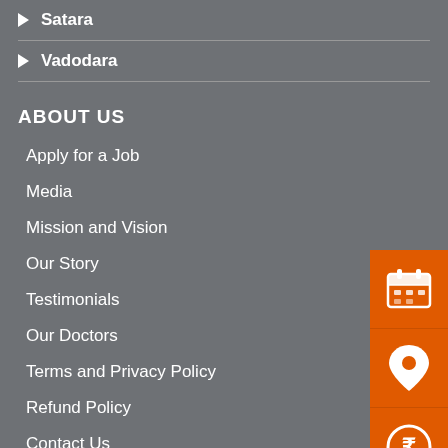Satara
Vadodara
ABOUT US
Apply for a Job
Media
Mission and Vision
Our Story
Testimonials
Our Doctors
Terms and Privacy Policy
Refund Policy
Contact Us
[Figure (infographic): Three orange icon boxes on right side: calendar/appointment icon, location pin icon, and Indian rupee coin icon]